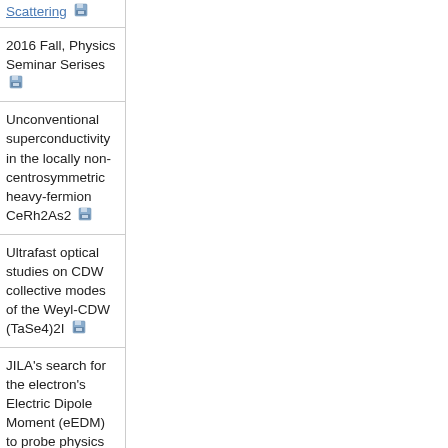2016 Fall, Physics Seminar Serises
Unconventional superconductivity in the locally non-centrosymmetric heavy-fermion CeRh2As2
Ultrafast optical studies on CDW collective modes of the Weyl-CDW (TaSe4)2I
JILA's search for the electron's Electric Dipole Moment (eEDM) to probe physics beyond the standard model